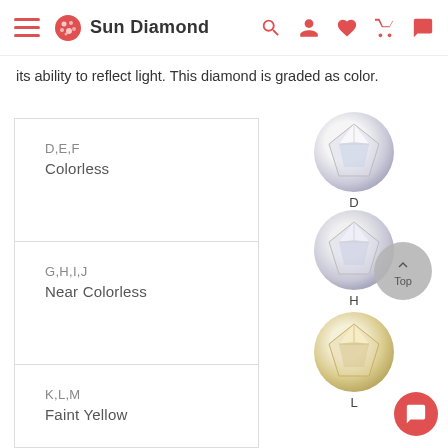Sun Diamond
its ability to reflect light. This diamond is graded as color.
| Grade | Category |
| --- | --- |
| D,E,F | Colorless |
| G,H,I,J | Near Colorless |
| K,L,M | Faint Yellow |
| N,O,P,Q,R |  |
[Figure (photo): Diamond color grading images: D (colorless), H (near colorless), L (faint yellow), and a partial fourth diamond image at bottom]
[Figure (other): Back to Top button (gray circle with up arrow and 'Top' label) and chat bubble button (red circle)]